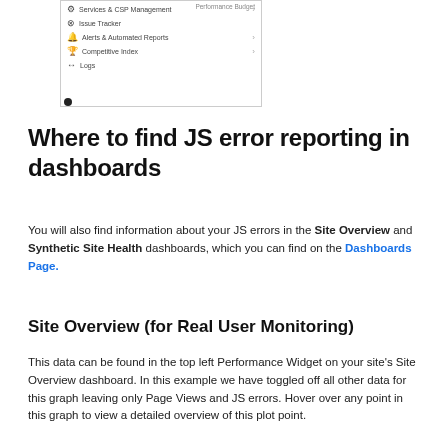[Figure (screenshot): Screenshot of a navigation menu showing items: Services & CSP Management, Issue Tracker, Alerts & Automated Reports, Competitive Index, Logs. A 'Performance Budget' label appears in the top right corner.]
•
Where to find JS error reporting in dashboards
You will also find information about your JS errors in the Site Overview and Synthetic Site Health dashboards, which you can find on the Dashboards Page.
Site Overview (for Real User Monitoring)
This data can be found in the top left Performance Widget on your site's Site Overview dashboard. In this example we have toggled off all other data for this graph leaving only Page Views and JS errors. Hover over any point in this graph to view a detailed overview of this plot point.